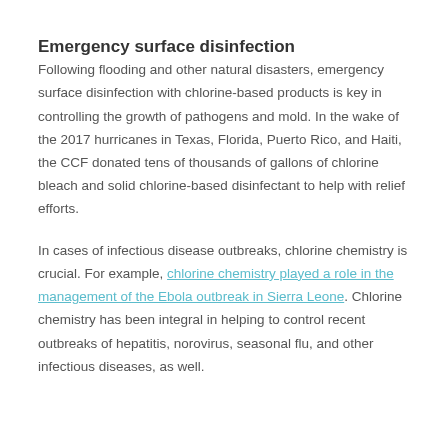Emergency surface disinfection
Following flooding and other natural disasters, emergency surface disinfection with chlorine-based products is key in controlling the growth of pathogens and mold. In the wake of the 2017 hurricanes in Texas, Florida, Puerto Rico, and Haiti, the CCF donated tens of thousands of gallons of chlorine bleach and solid chlorine-based disinfectant to help with relief efforts.
In cases of infectious disease outbreaks, chlorine chemistry is crucial. For example, chlorine chemistry played a role in the management of the Ebola outbreak in Sierra Leone. Chlorine chemistry has been integral in helping to control recent outbreaks of hepatitis, norovirus, seasonal flu, and other infectious diseases, as well.